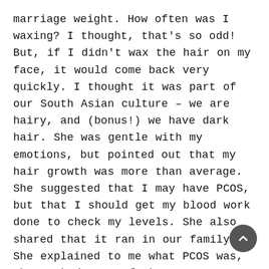marriage weight. How often was I waxing? I thought, that's so odd! But, if I didn't wax the hair on my face, it would come back very quickly. I thought it was part of our South Asian culture – we are hairy, and (bonus!) we have dark hair. She was gentle with my emotions, but pointed out that my hair growth was more than average. She suggested that I may have PCOS, but that I should get my blood work done to check my levels. She also shared that it ran in our family. She explained to me what PCOS was, that I had many of the common symptoms and that it could cause issues with fertility.
When I got my lab results back, she